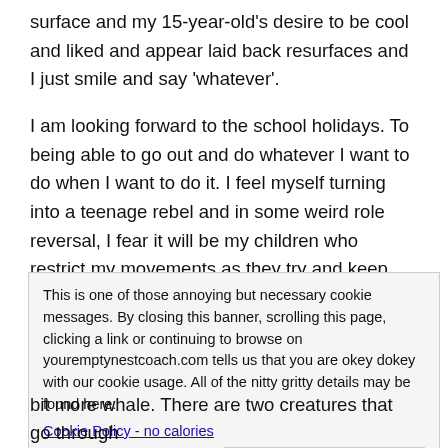surface and my 15-year-old's desire to be cool and liked and appear laid back resurfaces and I just smile and say 'whatever'.
I am looking forward to the school holidays. To being able to go out and do whatever I want to do when I want to do it. I feel myself turning into a teenage rebel and in some weird role reversal, I fear it will be my children who restrict my movements as they try and keep their 'ageing parents' (Their words, not mine) safe from whatever comes next.
This is one of those annoying but necessary cookie messages. By closing this banner, scrolling this page, clicking a link or continuing to browse on youremptynestcoach.com tells us that you are okey dokey with our cookie usage. All of the nitty gritty details may be found here:
Cookie Policy - no calories
Get rid of this box now.
bit more whale. There are two creatures that go through